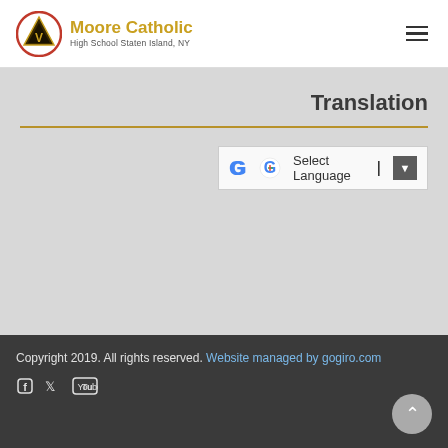Moore Catholic High School Staten Island, NY
Translation
[Figure (screenshot): Google Translate widget showing 'Select Language' dropdown button]
Copyright 2019. All rights reserved. Website managed by gogiro.com